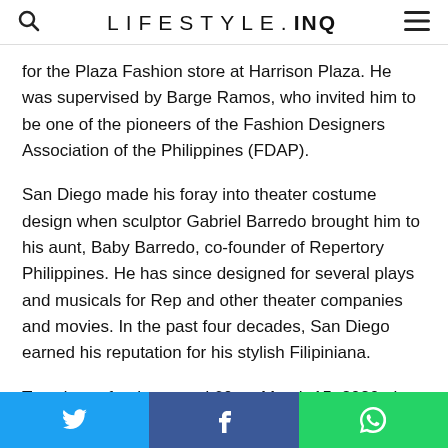LIFESTYLE.INQ
for the Plaza Fashion store at Harrison Plaza. He was supervised by Barge Ramos, who invited him to be one of the pioneers of the Fashion Designers Association of the Philippines (FDAP).
San Diego made his foray into theater costume design when sculptor Gabriel Barredo brought him to his aunt, Baby Barredo, co-founder of Repertory Philippines. He has since designed for several plays and musicals for Rep and other theater companies and movies. In the past four decades, San Diego earned his reputation for his stylish Filipiniana.
Two days after he turned 60 on March 15, 2020, the national lockdown was enforced. With no work for
Twitter Facebook WhatsApp